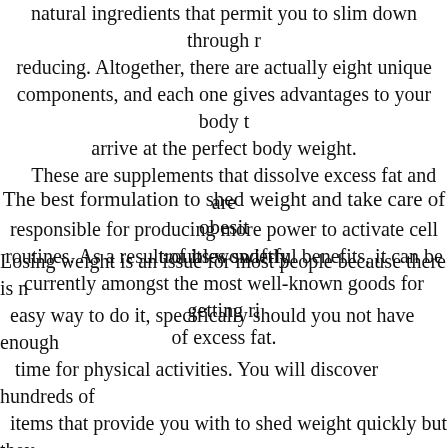natural ingredients that permit you to slim down through reducing. Altogether, there are actually eight unique components, and each one gives advantages to your body to arrive at the perfect body weight. These are supplements that dissolve excess fat and are responsible for producing more power to activate cell routines. As a result of its wonderful benefits, it can be currently amongst the most well-known goods for getting rid of excess fat.
The best formulation to shed weight and take care of obesity troubles swiftly
Losing weight is an issue for most people because there is no easy way to do it, specifically should you not have enough time for physical activities. You will discover hundreds of items that provide you with to shed weight quickly but they are not very good to improve your health on the market. For this reason it is recommended to look at the critiques and comments of consumers who have already employed the merchandise to be able to know them before you buy them. Exipure is undoubtedly an remarkable solution that permits you to slim down through a exclusive formulation that is certainly properly made to deal with standard metabolic